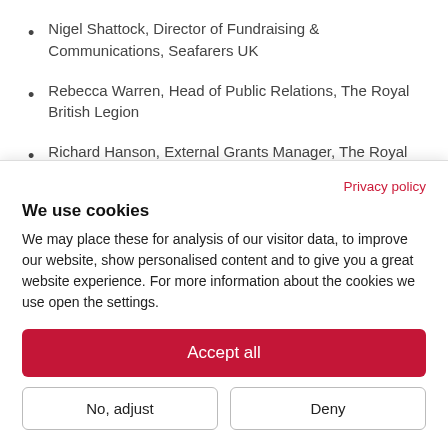Nigel Shattock, Director of Fundraising & Communications, Seafarers UK
Rebecca Warren, Head of Public Relations, The Royal British Legion
Richard Hanson, External Grants Manager, The Royal British Legion
Privacy policy
We use cookies
We may place these for analysis of our visitor data, to improve our website, show personalised content and to give you a great website experience. For more information about the cookies we use open the settings.
Accept all
No, adjust
Deny